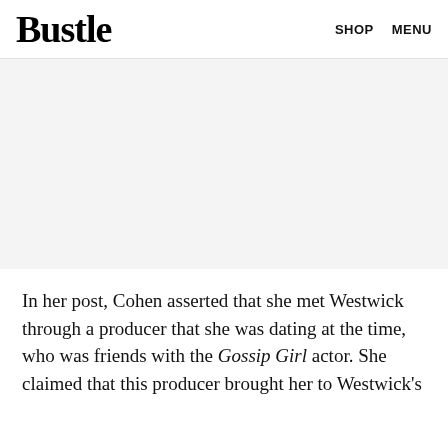Bustle  SHOP  MENU
[Figure (other): Advertisement placeholder area with light gray background]
In her post, Cohen asserted that she met Westwick through a producer that she was dating at the time, who was friends with the Gossip Girl actor. She claimed that this producer brought her to Westwick's